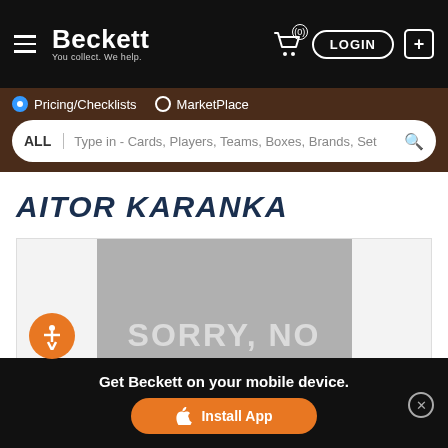Beckett — You collect. We help. LOGIN
Pricing/Checklists  MarketPlace
ALL  Type in - Cards, Players, Teams, Boxes, Brands, Set
AITOR KARANKA
[Figure (photo): Card image placeholder showing 'SORRY, NO' text in grey box with accessibility button on left]
We use cookies to help personalize content, tailor and measure ads, and provide a safer experience. By navigating the site, you agree to the use of cookies to collect information on and off our site.
Get Beckett on your mobile device.
Install App